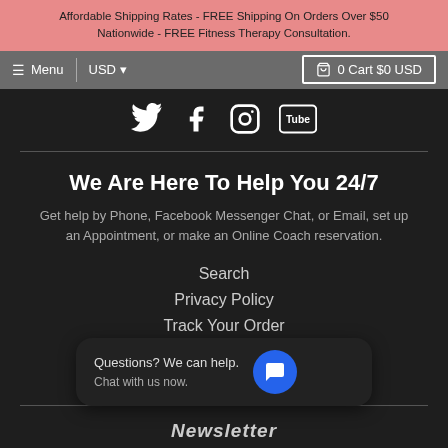Affordable Shipping Rates - FREE Shipping On Orders Over $50 Nationwide - FREE Fitness Therapy Consultation.
≡ Menu  USD  0 Cart $0 USD
[Figure (other): Social media icons row: Twitter bird, Facebook F, Instagram, YouTube]
We Are Here To Help You 24/7
Get help by Phone, Facebook Messenger Chat, or Email, set up an Appointment, or make an Online Coach reservation.
Search
Privacy Policy
Track Your Order
Terms Of Service
About Us
[Figure (other): Chat widget popup: 'Questions? We can help. Chat with us now.' with blue chat bubble button]
Newsletter